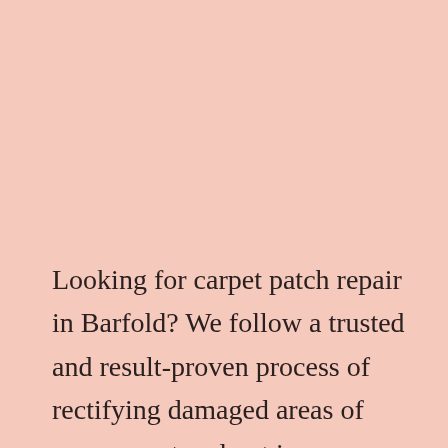Looking for carpet patch repair in Barfold? We follow a trusted and result-proven process of rectifying damaged areas of your carpet and put in new patches as replacements. The final result is staggering as your carpets look like they've only just been bought. We're among Sydney's most favoured companies for carpet patch repair